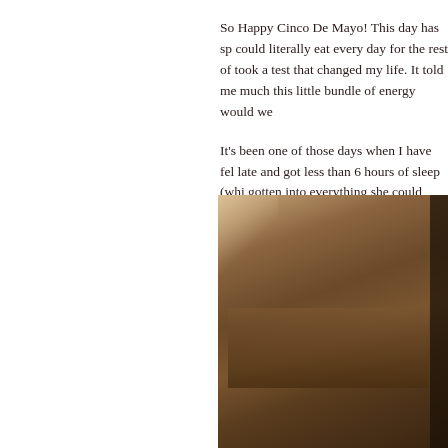So Happy Cinco De Mayo! This day has sp could literally eat every day for the rest of took a test that changed my life. It told me much this little bundle of energy would we
It's been one of those days when I have fel late and got less than 6 hours of sleep (whi gotten into everything she could possibly g
[Figure (photo): A partially visible photograph showing what appears to be wooden furniture or shelving, with warm brown tones and dark shadows, cut off on the right side of the page.]